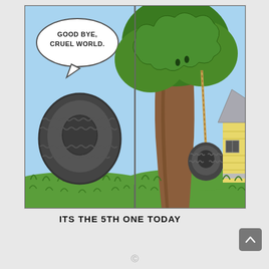[Figure (illustration): Two-panel cartoon comic strip. Left panel: a tire standing upright on grass with a speech bubble saying 'GOOD BYE, CRUEL WORLD.' Right panel: a tree with a tire swing hanging from a rope, with a house partially visible on the right.]
ITS THE 5TH ONE TODAY